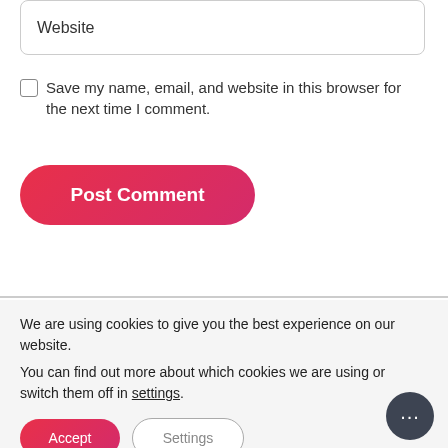Website
Save my name, email, and website in this browser for the next time I comment.
Post Comment
We are using cookies to give you the best experience on our website.
You can find out more about which cookies we are using or switch them off in settings.
Accept
Settings